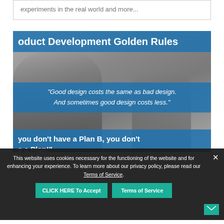experiments in the real world and more...
[Figure (photo): Grayscale photo of a group of people with blue overlay panels showing product development golden rules and quotes]
oduct Development Golden Rules
“Good design costs the same as bad design. And sometimes good design costs less.”
you don’t have a Plan B, you don’t e a Plan!"
This website uses cookies necessary for the functioning of the website and for enhancing your experience. To learn more about our privacy policy, please read our Terms of Service.
CLICK HERE To Accept
Terms of Service